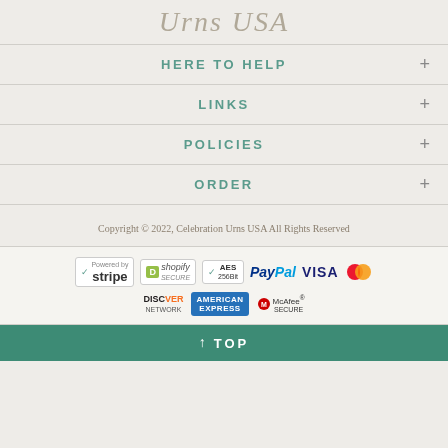Urns USA
HERE TO HELP
LINKS
POLICIES
ORDER
Copyright © 2022, Celebration Urns USA All Rights Reserved
[Figure (logo): Payment badges: Stripe, Shopify Secure, AES 256Bit, PayPal, VISA, MasterCard, Discover Network, American Express, McAfee Secure]
↑ TOP